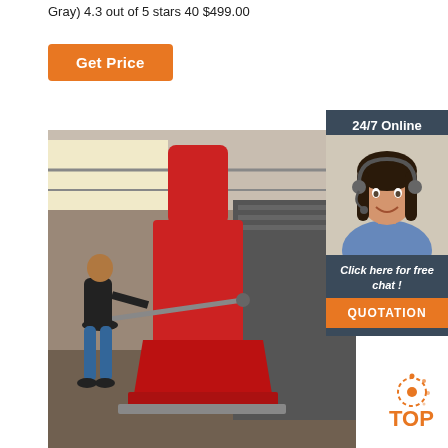Gray) 4.3 out of 5 stars 40 $499.00
Get Price
[Figure (photo): Industrial workshop scene with a worker operating a large red pneumatic or hydraulic hammer machine in a factory setting.]
24/7 Online
[Figure (photo): Customer service representative woman with headset smiling, used as a chat support widget image.]
Click here for free chat !
QUOTATION
[Figure (logo): TOP logo with orange dot/gear motif and orange text reading TOP.]